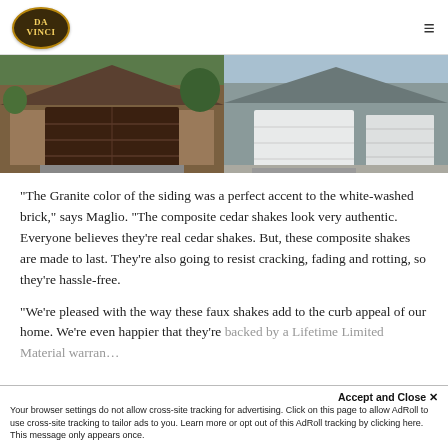[Figure (logo): Da Vinci logo — oval dark brown badge with gold border and gold text 'DA VINCI']
[Figure (photo): Side-by-side photos of two houses with garage doors: left image shows a dark brown wood-look garage door with brick facade; right image shows a white garage door with light grey siding]
“The Granite color of the siding was a perfect accent to the white-washed brick,” says Maglio. “The composite cedar shakes look very authentic. Everyone believes they’re real cedar shakes. But, these composite shakes are made to last. They’re also going to resist cracking, fading and rotting, so they’re hassle-free.
“We’re pleased with the way these faux shakes add to the curb appeal of our home. We’re even happier that they’re backed by a Lifetime Limited Material warran…
Accept and Close ×
Your browser settings do not allow cross-site tracking for advertising. Click on this page to allow AdRoll to use cross-site tracking to tailor ads to you. Learn more or opt out of this AdRoll tracking by clicking here. This message only appears once.